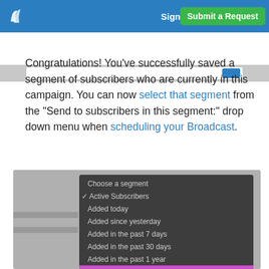Sign In | Submit a Request
[Figure (screenshot): Partial UI screenshot showing a form/search bar with a blue button]
Congratulations! You've successfully saved a segment of subscribers who are currently in this campaign. You can now select that segment from the "Send to subscribers in this segment:" drop down menu when scheduling your Broadcast.
[Figure (screenshot): Dropdown menu showing segment options: Choose a segment, Active Subscribers (checked), Added today, Added since yesterday, Added in the past 7 days, Added in the past 30 days, Added in the past 1 year, List Growth (highlighted in pink/purple), Not in My Campaign, Recent Openers]